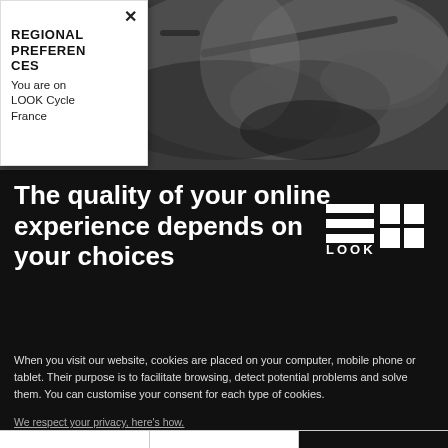[Figure (photo): Dark photograph of hands working on bicycle components, blurred dark background]
×
REGIONAL PREFERENCES
You are on
LOOK Cycle
France
The quality of your online experience depends on your choices
[Figure (logo): LOOK brand logo in white on black background — horizontal bars and square grid forming the word LOOK]
When you visit our website, cookies are placed on your computer, mobile phone or tablet. Their purpose is to facilitate browsing, detect potential problems and solve them. You can customise your consent for each type of cookies.
We respect your privacy, here's how.
No, thanks
I want to choose
OK !